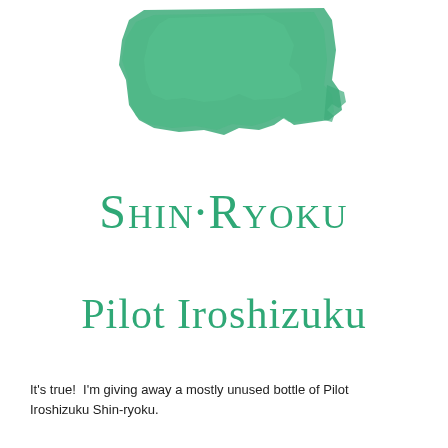[Figure (illustration): A green ink swatch/smear at the top of the page, showing Pilot Iroshizuku Shin-ryoku green ink color]
Shin·Ryoku
Pilot Iroshizuku
It's true!  I'm giving away a mostly unused bottle of Pilot Iroshizuku Shin-ryoku.